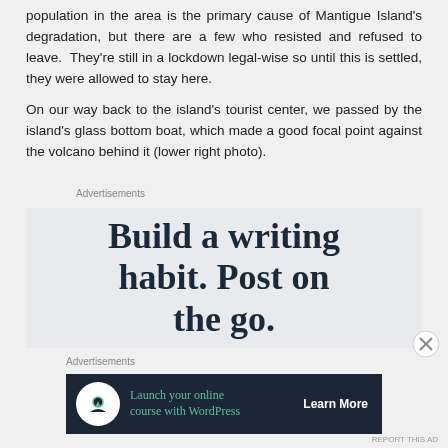population in the area is the primary cause of Mantigue Island's degradation, but there are a few who resisted and refused to leave. They're still in a lockdown legal-wise so until this is settled, they were allowed to stay here.
On our way back to the island's tourist center, we passed by the island's glass bottom boat, which made a good focal point against the volcano behind it (lower right photo).
Advertisements
[Figure (other): Advertisement: Build a writing habit. Post on the go.]
Advertisements
[Figure (other): Advertisement: Launch your online course with WordPress. Learn More.]